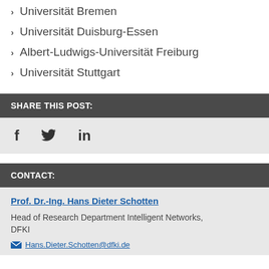Universität Bremen
Universität Duisburg-Essen
Albert-Ludwigs-Universität Freiburg
Universität Stuttgart
SHARE THIS POST:
[Figure (infographic): Social media share icons: Facebook (f), Twitter (bird), LinkedIn (in)]
CONTACT:
Prof. Dr.-Ing. Hans Dieter Schotten
Head of Research Department Intelligent Networks, DFKI